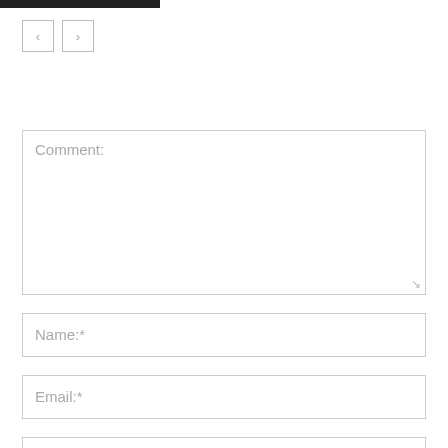[Figure (screenshot): Dark horizontal bar at top of page, partial navigation element]
[Figure (screenshot): Two navigation buttons: left arrow (<) and right arrow (>), styled with light gray borders]
Comment:
Name:*
Email:*
Website: